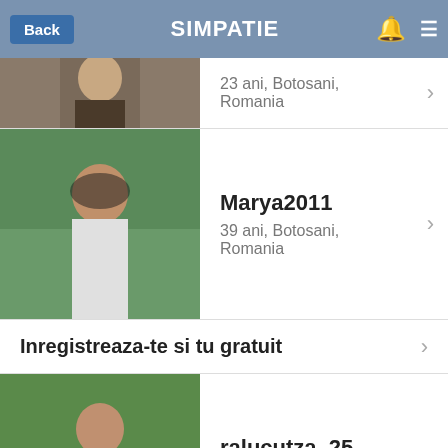Back | SIMPATIE
[Figure (photo): Young woman sitting outdoors with a dog]
23 ani, Botosani, Romania
[Figure (photo): Woman in sunglasses and white top outdoors]
Marya2011
39 ani, Botosani, Romania
Inregistreaza-te si tu gratuit
[Figure (photo): Young woman in black top on grass]
ralucutza_25
34 ani, Botosani, Romania
[Figure (photo): Young woman near a car]
sexymihaela
22 ani, Botosani, Romania
[Figure (photo): Young woman with red hair]
ilinca1994
28 ani, Botosani, Romania